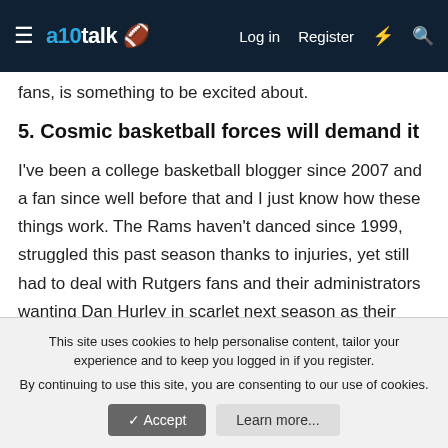a10talk | Log in | Register
fans, is something to be excited about.
5. Cosmic basketball forces will demand it
I've been a college basketball blogger since 2007 and a fan since well before that and I just know how these things work. The Rams haven't danced since 1999, struggled this past season thanks to injuries, yet still had to deal with Rutgers fans and their administrators wanting Dan Hurley in scarlet next season as their new head coach. Hurley thankfully passed. Matthews comes back and the stars are
This site uses cookies to help personalise content, tailor your experience and to keep you logged in if you register.
By continuing to use this site, you are consenting to our use of cookies.